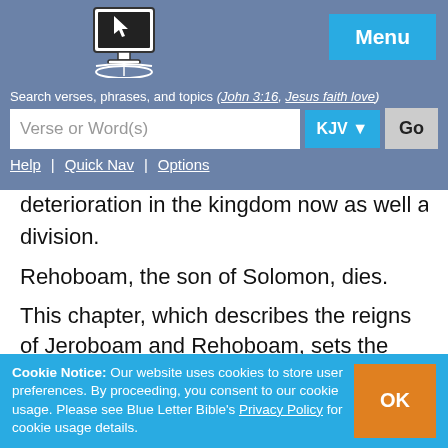Blue Letter Bible - Search verses, phrases, and topics (e.g. John 3:16, Jesus faith love)
deterioration in the kingdom now as well as division.
Rehoboam, the son of Solomon, dies.
This chapter, which describes the reigns of Jeroboam and Rehoboam, sets the pace for the sordid record of the kings of the divided kingdom. There was not one good king in the northern kingdom of Israel. There were nineteen of them, and all were bad. In the southern
Cookie Notice: Our website uses cookies to store user preferences. By proceeding, you consent to our cookie usage. Please see Blue Letter Bible's Privacy Policy for cookie usage details.